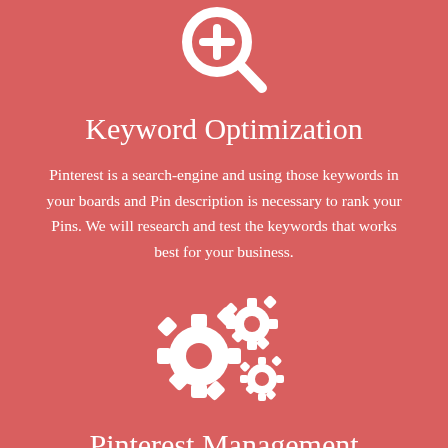[Figure (illustration): White search icon with a plus sign inside the magnifying glass lens, on red background]
Keyword Optimization
Pinterest is a search-engine and using those keywords in your boards and Pin description is necessary to rank your Pins. We will research and test the keywords that works best for your business.
[Figure (illustration): White gears/cogs icon (two interlocking gears of different sizes) on red background]
Pinterest Management